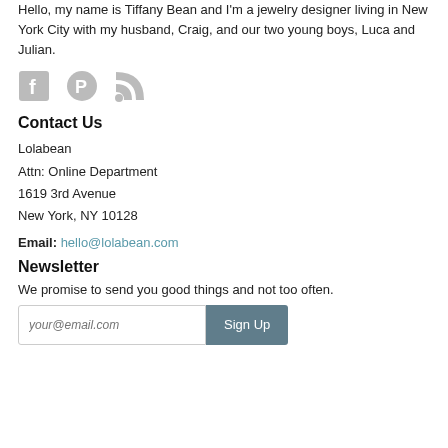Hello, my name is Tiffany Bean and I'm a jewelry designer living in New York City with my husband, Craig, and our two young boys, Luca and Julian.
[Figure (illustration): Three social media icons: Facebook (f), Pinterest (P), and RSS feed symbol, in light gray.]
Contact Us
Lolabean
Attn: Online Department
1619 3rd Avenue
New York, NY 10128
Email: hello@lolabean.com
Newsletter
We promise to send you good things and not too often.